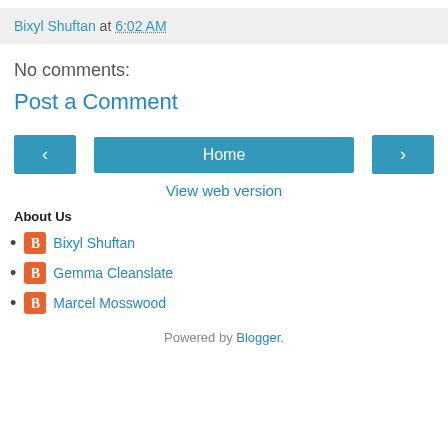Bixyl Shuftan at 6:02 AM
No comments:
Post a Comment
[Figure (other): Navigation buttons: left arrow, Home, right arrow]
View web version
About Us
Bixyl Shuftan
Gemma Cleanslate
Marcel Mosswood
Powered by Blogger.